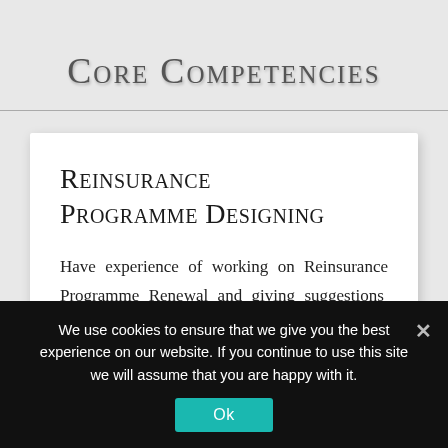Core Competencies
Reinsurance Programme Designing
Have experience of working on Reinsurance Programme Renewal and giving suggestions on improvements. Understands the wholistic view of
We use cookies to ensure that we give you the best experience on our website. If you continue to use this site we will assume that you are happy with it.